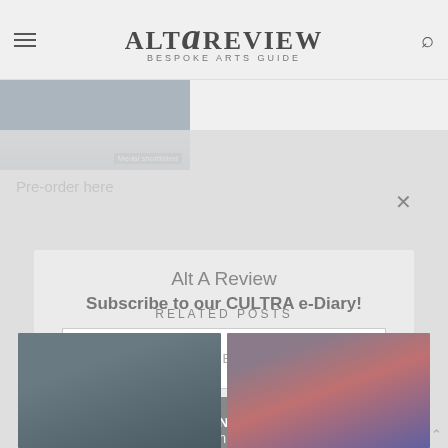ALT A REVIEW BESPOKE ARTS GUIDE
[Figure (screenshot): Blurred architectural image with text 'Medal shortlisted' overlaid]
Pre-order here
[Figure (screenshot): Modal dialog overlay: 'Alt A Review - Subscribe to our CULTRA e-Diary!' with email input, SIGN UP / View Comments (0) button, and Subscribe checkbox]
RELATED POSTS
[Figure (photo): Blurred dark blue/grey thumbnail image]
[Figure (photo): Blurred purple/red/blue thumbnail image]